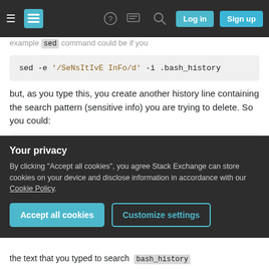Stack Exchange navigation bar with hamburger, logo, question mark, speech bubble, search icons, Log in and Sign up buttons
example sed command could be if you
[Figure (screenshot): Code block: sed -e '/SeNsItIvE InFo/d' -i .bash_history]
but, as you type this, you create another history line containing the search pattern (sensitive info) you are trying to delete. So you could:
[Figure (screenshot): Code block: sed -e "/$(head -n1)/d" -i .bash_history]
This will run head -n1 with input from the terminal,
Your privacy
By clicking "Accept all cookies", you agree Stack Exchange can store cookies on your device and disclose information in accordance with our Cookie Policy.
Accept all cookies    Customize settings
the text that you typed to search   bash_history